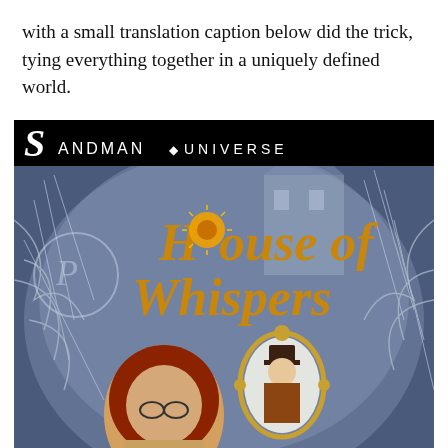with a small translation caption below did the trick, tying everything together in a uniquely defined world.
[Figure (illustration): Comic book cover for 'House of Whispers' from the Sandman Universe imprint. Black background at top with 'SANDMAN UNIVERSE' text. Large decorative lettering reads 'House of Whispers' in gold/orange. Background shows blue-and-white illustrated scene with trees and structures. Foreground characters include a woman with glasses and red hair, and a man in a top hat visible in an ornate mirror.]